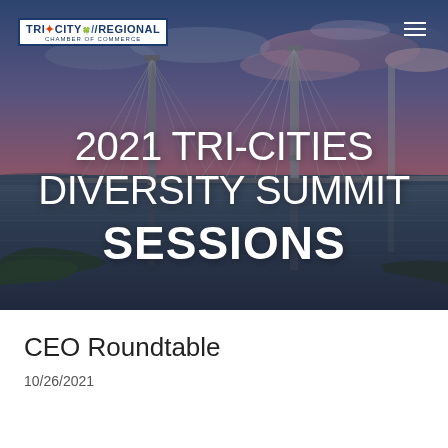[Figure (photo): Aerial/close-up photograph of a cable-stayed bridge over a river at dusk with colorful pink and blue sky, used as hero background for the Tri-Cities Diversity Summit page.]
TRI CITY REGIONAL CHAMBER OF COMMERCE
2021 TRI-CITIES DIVERSITY SUMMIT SESSIONS
CEO Roundtable
10/26/2021